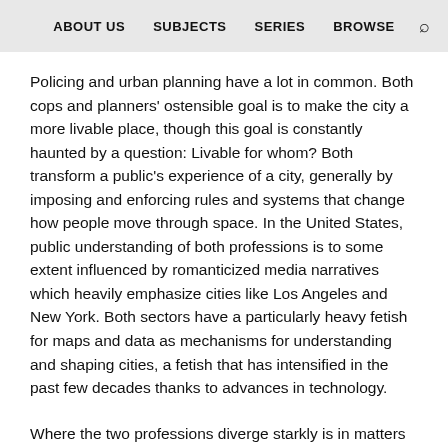ABOUT US   SUBJECTS   SERIES   BROWSE
Policing and urban planning have a lot in common. Both cops and planners' ostensible goal is to make the city a more livable place, though this goal is constantly haunted by a question: Livable for whom? Both transform a public's experience of a city, generally by imposing and enforcing rules and systems that change how people move through space. In the United States, public understanding of both professions is to some extent influenced by romanticized media narratives which heavily emphasize cities like Los Angeles and New York. Both sectors have a particularly heavy fetish for maps and data as mechanisms for understanding and shaping cities, a fetish that has intensified in the past few decades thanks to advances in technology.
Where the two professions diverge starkly is in matters of